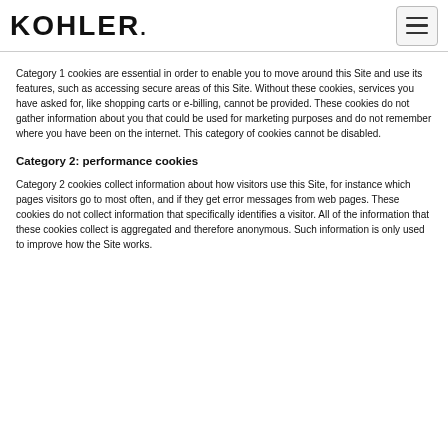KOHLER.
Category 1 cookies are essential in order to enable you to move around this Site and use its features, such as accessing secure areas of this Site. Without these cookies, services you have asked for, like shopping carts or e-billing, cannot be provided. These cookies do not gather information about you that could be used for marketing purposes and do not remember where you have been on the internet. This category of cookies cannot be disabled.
Category 2: performance cookies
Category 2 cookies collect information about how visitors use this Site, for instance which pages visitors go to most often, and if they get error messages from web pages. These cookies do not collect information that specifically identifies a visitor. All of the information that these cookies collect is aggregated and therefore anonymous. Such information is only used to improve how the Site works.